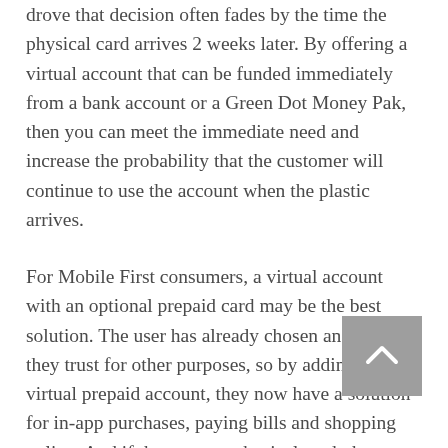drove that decision often fades by the time the physical card arrives 2 weeks later. By offering a virtual account that can be funded immediately from a bank account or a Green Dot Money Pak, then you can meet the immediate need and increase the probability that the customer will continue to use the account when the plastic arrives.
For Mobile First consumers, a virtual account with an optional prepaid card may be the best solution. The user has already chosen an app that they trust for other purposes, so by adding a virtual prepaid account, they now have a solution for in-app purchases, paying bills and shopping online. And if they want a physical card, they can request